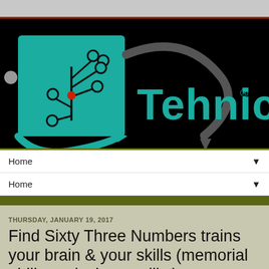[Figure (logo): Tehnico logo on black background with teal circuit board graphic and teal text 'Tehnico' with registered trademark symbol]
Home ▼
Home ▼
THURSDAY, JANUARY 19, 2017
Find Sixty Three Numbers trains your brain & your skills (memorial ability, calculate, agility)